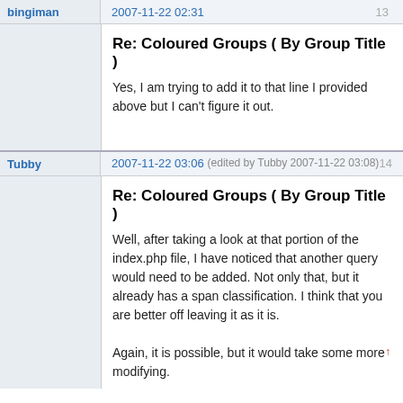bingiman
2007-11-22 02:31
13
Re: Coloured Groups ( By Group Title )
Yes, I am trying to add it to that line I provided above but I can't figure it out.
Tubby
2007-11-22 03:06 (edited by Tubby 2007-11-22 03:08)
14
Re: Coloured Groups ( By Group Title )
Well, after taking a look at that portion of the index.php file, I have noticed that another query would need to be added. Not only that, but it already has a span classification. I think that you are better off leaving it as it is.

Again, it is possible, but it would take some more modifying.